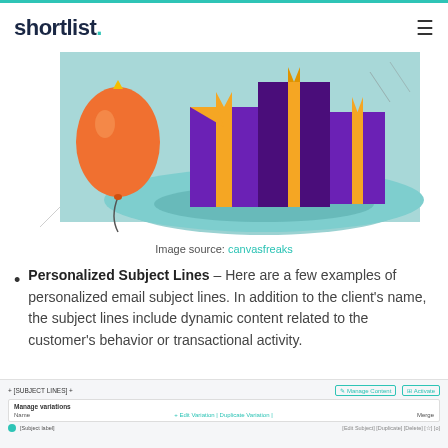shortlist.
[Figure (illustration): Colorful illustration of wrapped gift boxes (purple with yellow ribbon) on a teal circular platform with an orange balloon on the left, festive confetti in background]
Image source: canvasfreaks
Personalized Subject Lines – Here are a few examples of personalized email subject lines. In addition to the client's name, the subject lines include dynamic content related to the customer's behavior or transactional activity.
[Figure (screenshot): Screenshot of an email subject line management interface showing a list of email subject line templates with controls for managing content]